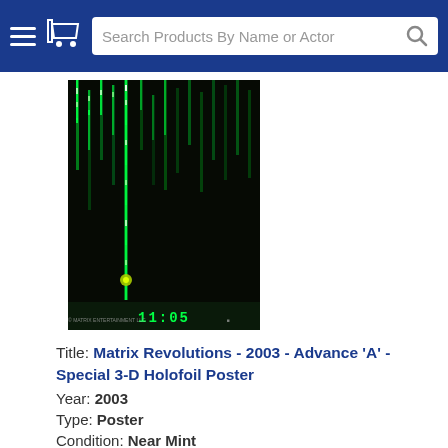Search Products By Name or Actor
[Figure (photo): Movie poster for The Matrix Revolutions (2003) showing green digital rain code on black background with a clock display reading 11:05 at the bottom.]
Title: Matrix Revolutions - 2003 - Advance 'A' - Special 3-D Holofoil Poster
Year: 2003
Type: Poster
Condition: Near Mint
Size: 1-Sheet (27 x 40)
Description: "EVERYTHING THAT HAS A BEGINNING